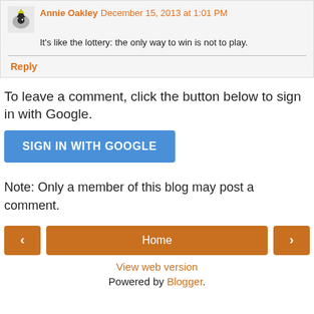Annie Oakley  December 15, 2013 at 1:01 PM
It's like the lottery: the only way to win is not to play.
Reply
To leave a comment, click the button below to sign in with Google.
SIGN IN WITH GOOGLE
Note: Only a member of this blog may post a comment.
Home
View web version
Powered by Blogger.